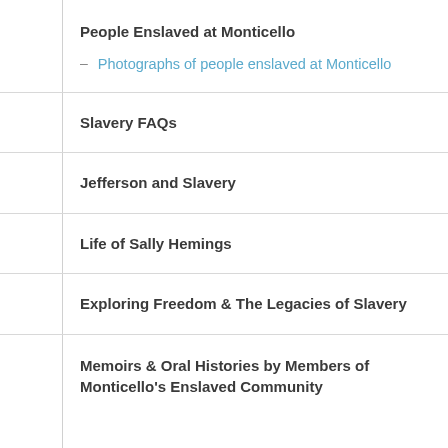People Enslaved at Monticello
Photographs of people enslaved at Monticello
Slavery FAQs
Jefferson and Slavery
Life of Sally Hemings
Exploring Freedom & The Legacies of Slavery
Memoirs & Oral Histories by Members of Monticello's Enslaved Community